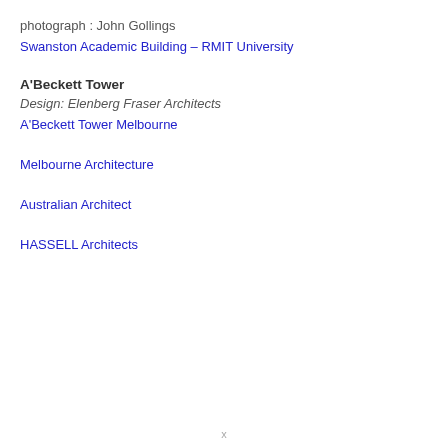photograph : John Gollings
Swanston Academic Building – RMIT University
A'Beckett Tower
Design: Elenberg Fraser Architects
A'Beckett Tower Melbourne
Melbourne Architecture
Australian Architect
HASSELL Architects
x